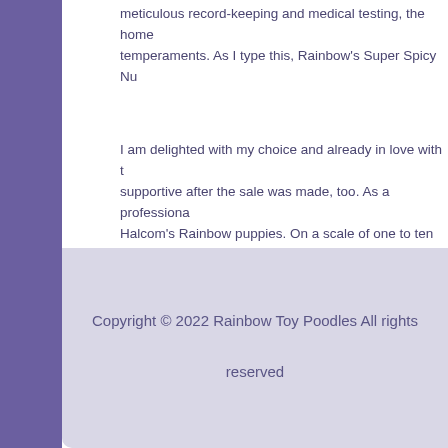meticulous record-keeping and medical testing, the home temperaments. As I type this, Rainbow's Super Spicy Nu
I am delighted with my choice and already in love with t supportive after the sale was made, too. As a professiona Halcom's Rainbow puppies. On a scale of one to ten as a
Vivian Stoppel, Founder, Retired Scotch Pines Dog Trai New Plymouth, ID 208-740-9720
Copyright © 2022 Rainbow Toy Poodles All rights reserved